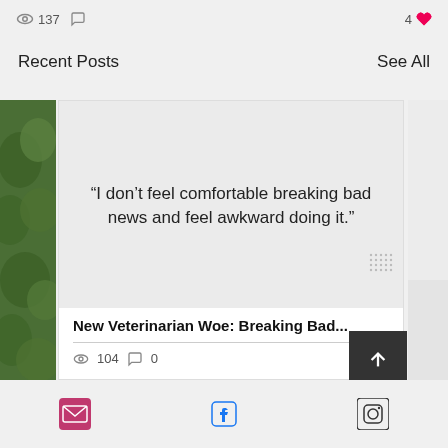137  4
Recent Posts   See All
[Figure (screenshot): Social media post card showing quote: "I don't feel comfortable breaking bad news and feel awkward doing it." with title 'New Veterinarian Woe: Breaking Bad...' and stats 104 views, 0 comments, heart icon]
[Figure (infographic): Footer bar with email, Facebook, and Instagram icons]